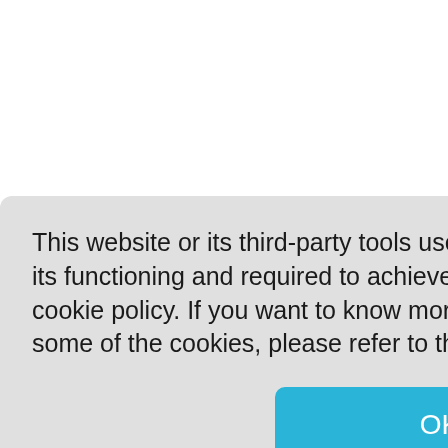This website or its third-party tools use cookies, which are necessary to its functioning and required to achieve the purposes illustrated in the cookie policy. If you want to know more or withdraw your consent to all or some of the cookies, please refer to the:  Privacy policy
OK